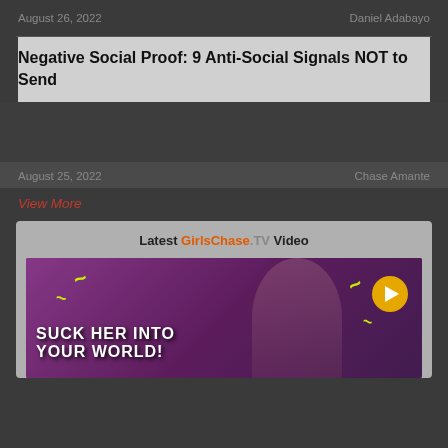August 26, 2022   Daniel Adabayo
Negative Social Proof: 9 Anti-Social Signals NOT to Send
August 25, 2022   Chase Amante
View More
Latest GirlsChase.TV Video
[Figure (photo): Video thumbnail showing a blonde woman with text 'SUCK HER INTO YOUR WORLD!' overlaid in bold white letters on a purple/pink background, with a yellow play button in the top right corner and neon green squiggle decorations]